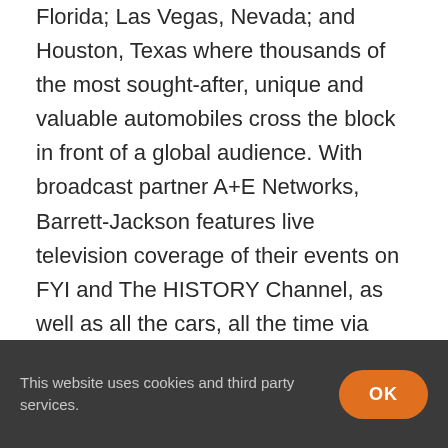Florida; Las Vegas, Nevada; and Houston, Texas where thousands of the most sought-after, unique and valuable automobiles cross the block in front of a global audience. With broadcast partner A+E Networks, Barrett-Jackson features live television coverage of their events on FYI and The HISTORY Channel, as well as all the cars, all the time via their produced livestream on Barrett-Jackson.com. Barrett-Jackson also endorses a one-of-a-kind collector car insurance for collector vehicles and other valued belongings. For more information
This website uses cookies and third party services.